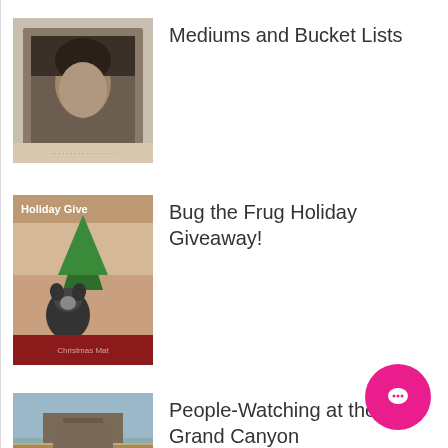Mediums and Bucket Lists
Bug the Frug Holiday Giveaway!
People-Watching at the Grand Canyon